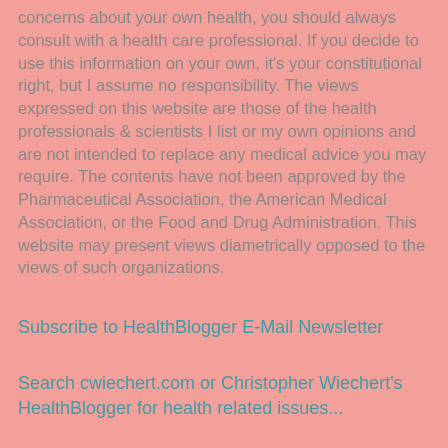concerns about your own health, you should always consult with a health care professional. If you decide to use this information on your own, it's your constitutional right, but I assume no responsibility. The views expressed on this website are those of the health professionals & scientists I list or my own opinions and are not intended to replace any medical advice you may require. The contents have not been approved by the Pharmaceutical Association, the American Medical Association, or the Food and Drug Administration. This website may present views diametrically opposed to the views of such organizations.
Subscribe to HealthBlogger E-Mail Newsletter
Search cwiechert.com or Christopher Wiechert's HealthBlogger for health related issues...
Help HealthBlogger and cwiechert.com grow and prosper...